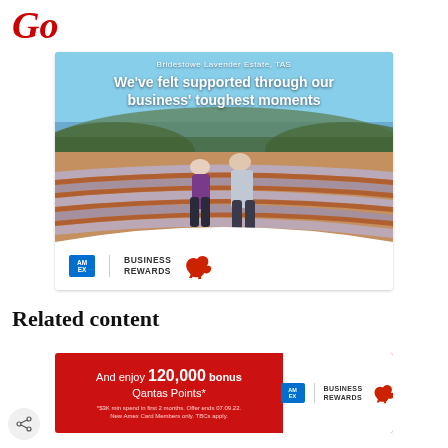Go
[Figure (photo): Advertisement for American Express Business Rewards. Background shows two elderly people (a man and a woman) standing in lavender fields at Bridestowe Lavender Estate, TAS. Text overlay reads: 'Bridestowe Lavender Estate, TAS' and 'We've felt supported through our business' toughest moments'. Bottom section shows American Express and Qantas Business Rewards logos.]
Related content
[Figure (photo): Red advertisement banner for American Express Qantas Business Rewards. Text: 'And enjoy 120,000 bonus Qantas Points* *$3K min spend in first 2 months. Offer ends 07.09.22. New Amex Card Members only. TBCs apply.' Right side shows American Express and Qantas Business Rewards logos on white background.]